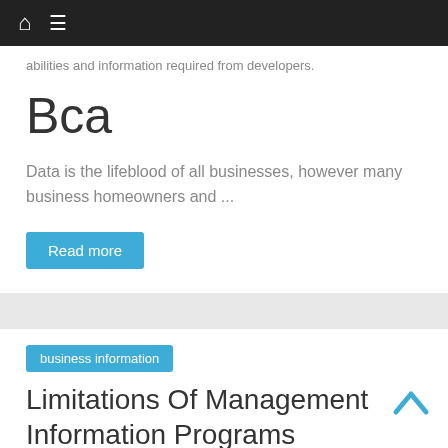abilities and information required from developers.
Bca
Data is the lifeblood of all businesses, however many business homeowners and ...
Read more
business information
Limitations Of Management Information Programs
August 29, 2019   admin   information, limitations, management, systems